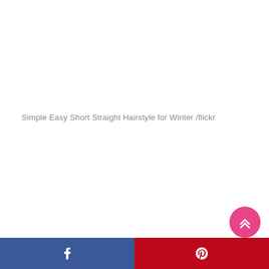Simple Easy Short Straight Hairstyle for Winter /flickr
[Figure (other): Pink circular scroll-to-top button with double chevron up arrow icon]
Facebook share button and Pinterest share button